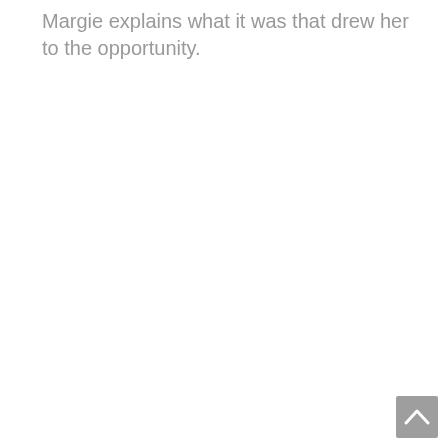Margie explains what it was that drew her to the opportunity.
[Figure (other): A small grey square button with an upward-pointing chevron arrow, positioned in the bottom-right corner of the page (scroll-to-top UI button).]